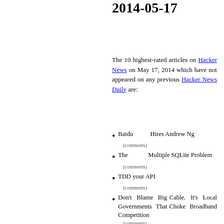2014-05-17
The 10 highest-rated articles on Hacker News on May 17, 2014 which have not appeared on any previous Hacker News Daily are:
Baidu Hires Andrew Ng
(comments)
The Multiple SQLite Problem
(comments)
TDD your API
(comments)
Don't Blame Big Cable. It's Local Governments That Choke Broadband Competition
(comments)
Practical Tmux